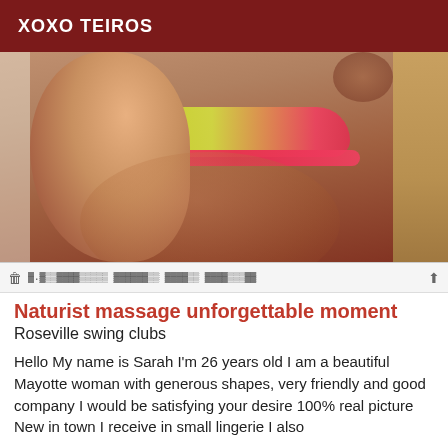XOXO TEIROS
[Figure (photo): Photo of a woman in a yellow and pink bikini bottom, shot from behind]
toolbar row with icons and obfuscated URL text
Naturist massage unforgettable moment
Roseville swing clubs
Hello My name is Sarah I'm 26 years old I am a beautiful Mayotte woman with generous shapes, very friendly and good company I would be satisfying your desire 100% real picture New in town I receive in small lingerie I also